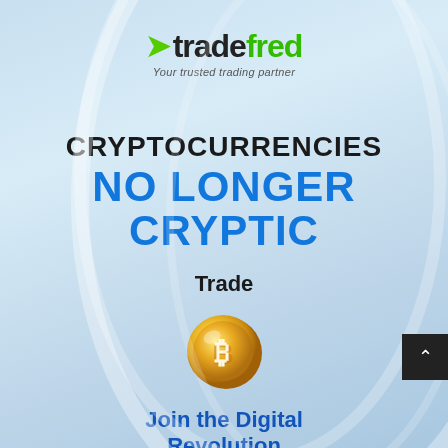[Figure (logo): TradeFred logo with green arrow and 'trade' in dark text, 'fred' in green, tagline 'Your trusted trading partner']
CRYPTOCURRENCIES NO LONGER CRYPTIC
Trade
[Figure (illustration): Gold Bitcoin coin with B symbol]
Join the Digital Revolution